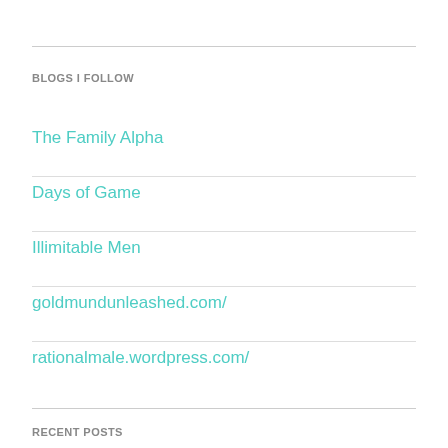BLOGS I FOLLOW
The Family Alpha
Days of Game
Illimitable Men
goldmundunleashed.com/
rationalmale.wordpress.com/
RECENT POSTS